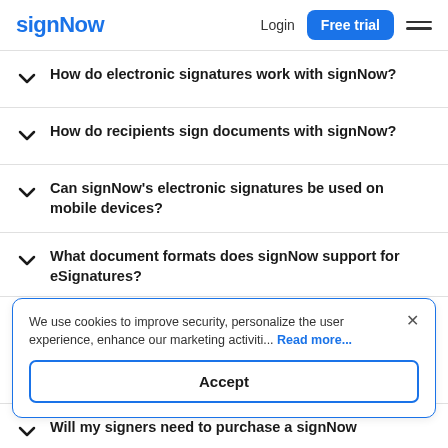signNow | Login | Free trial
How do electronic signatures work with signNow?
How do recipients sign documents with signNow?
Can signNow's electronic signatures be used on mobile devices?
What document formats does signNow support for eSignatures?
We use cookies to improve security, personalize the user experience, enhance our marketing activiti... Read more...
Accept
Will my signers need to purchase a signNow